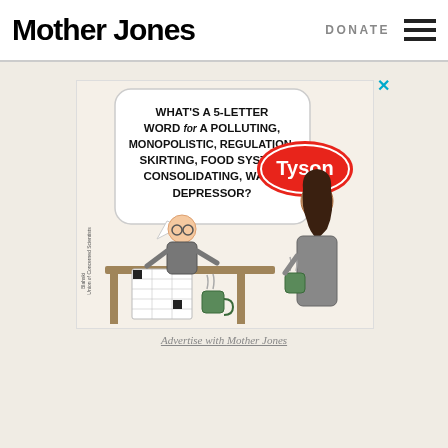Mother Jones  DONATE
[Figure (illustration): Advertisement illustration: A cartoon showing a person doing a crossword puzzle asking 'What's a 5-letter word for a polluting, monopolistic, regulation-skirting, food system consolidating, wage depressor?' with a Tyson logo speech bubble, created by Union of Concerned Scientists / Blahski]
Advertise with Mother Jones